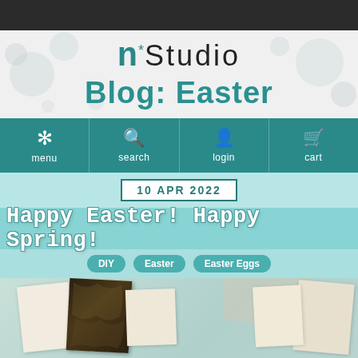[Figure (screenshot): Dark top bar of website screenshot]
n*Studio Blog: Easter
[Figure (screenshot): Navigation bar with menu, search, login, cart icons on teal background]
10 APR 2022
Happy Easter! Happy Spring!
DIY  Easter  Easter Eggs
[Figure (photo): Photo collage of Easter cards and craft items on a teal background]